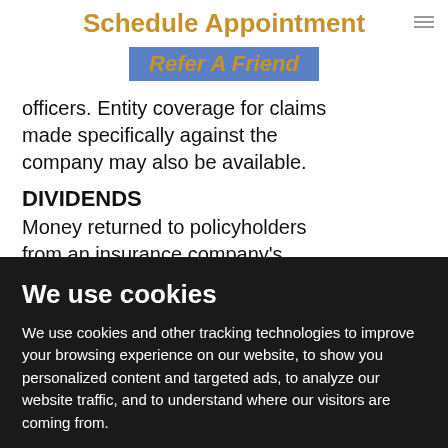Schedule Appointment
Refer A Friend
officers. Entity coverage for claims made specifically against the company may also be available.
DIVIDENDS
Money returned to policyholders from an insurance company's
We use cookies
We use cookies and other tracking technologies to improve your browsing experience on our website, to show you personalized content and targeted ads, to analyze our website traffic, and to understand where our visitors are coming from.